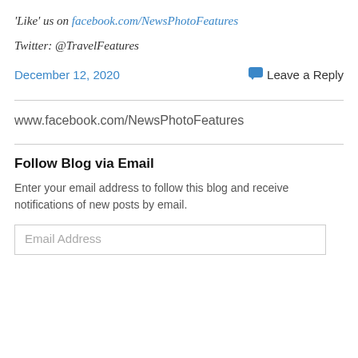'Like' us on facebook.com/NewsPhotoFeatures
Twitter: @TravelFeatures
December 12, 2020
Leave a Reply
www.facebook.com/NewsPhotoFeatures
Follow Blog via Email
Enter your email address to follow this blog and receive notifications of new posts by email.
Email Address